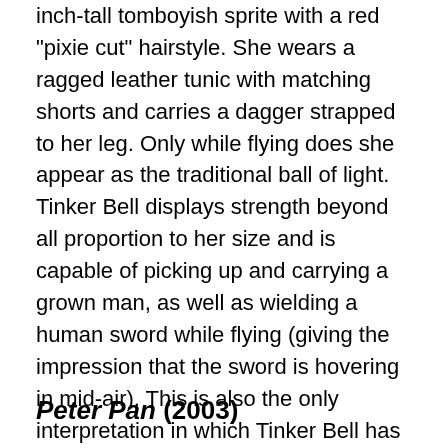inch-tall tomboyish sprite with a red "pixie cut" hairstyle. She wears a ragged leather tunic with matching shorts and carries a dagger strapped to her leg. Only while flying does she appear as the traditional ball of light. Tinker Bell displays strength beyond all proportion to her size and is capable of picking up and carrying a grown man, as well as wielding a human sword while flying (giving the impression that the sword is hovering in mid-air). This is also the only interpretation in which Tinker Bell has the ability to transform into a human-size version of herself. Hook subverts Tinker Bell's canon by having her survive well into the modern era, whereas the original novel states that fairies are naturally short-lived and that Tinker Bell died a year after the Darling children's adventures.
Peter Pan (2003)